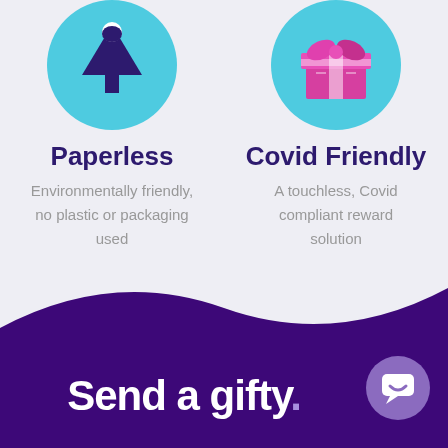[Figure (illustration): Two circular icons side by side on light purple background. Left: teal circle with dark purple tree/person icon (Paperless). Right: teal circle with pink/magenta gift box icon (Covid Friendly).]
Paperless
Environmentally friendly, no plastic or packaging used
Covid Friendly
A touchless, Covid compliant reward solution
[Figure (illustration): Dark purple curved wave banner at bottom of page with white bold text 'Send a gifty.' and a purple chat bubble icon on the right.]
Send a gifty.